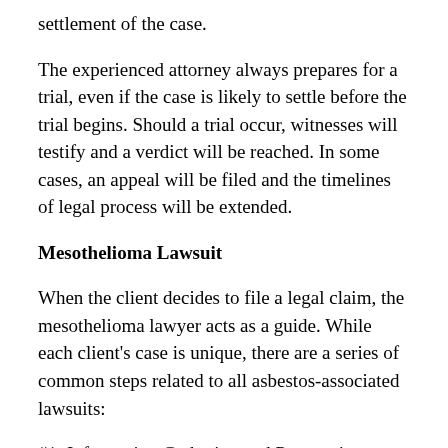settlement of the case.
The experienced attorney always prepares for a trial, even if the case is likely to settle before the trial begins. Should a trial occur, witnesses will testify and a verdict will be reached. In some cases, an appeal will be filed and the timelines of legal process will be extended.
Mesothelioma Lawsuit
When the client decides to file a legal claim, the mesothelioma lawyer acts as a guide. While each client's case is unique, there are a series of common steps related to all asbestos-associated lawsuits:
#1: Information Gathering and Preparation
The lawyer gathers information about the plaintiff's